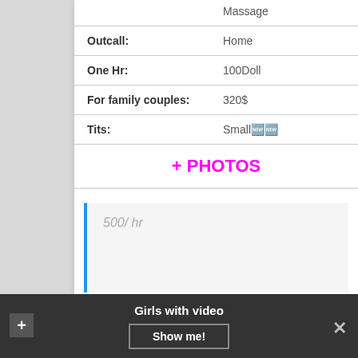|  | Massage |
| Outcall: | Home |
| One Hr: | 100Doll |
| For family couples: | 320$ |
| Tits: | Small🆕🆕 |
+ PHOTOS
500/ hr
Olivia
Girls with video
Show me!